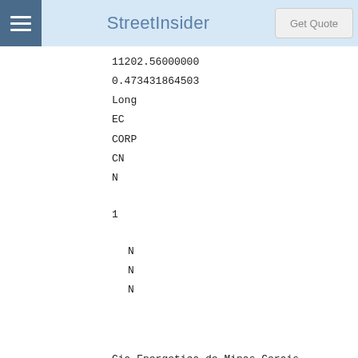StreetInsider | Get Quote
11202.56000000
0.473431864503
Long
EC
CORP
CN
N
1
N
N
N
Cia Energetica de Minas Gerais
254900W703PXLDSEM056
000000000
4601.00000000